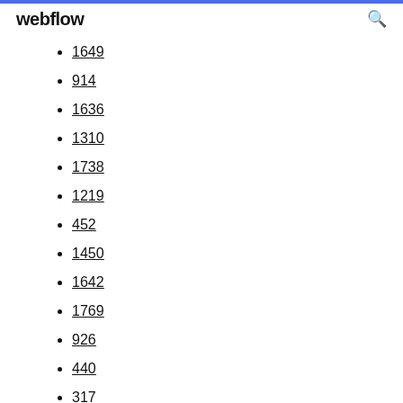webflow
1649
914
1636
1310
1738
1219
452
1450
1642
1769
926
440
317